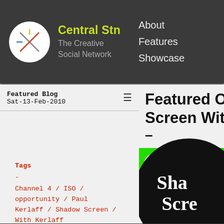Central Stn — The Creative Social Network | About, Features, Showcase
Featured Blog
Sat-13-Feb-2010
Featured Oppo Screen With K–
[Figure (logo): Central Station Project green badge with cross logo]
Tags
-
Channel 4 / ISO / opportunity / Paul Kerlaff / Shadow Screen / With Kerlaff
Views: 3,231
[Figure (illustration): Black circle with white serif text: Sha Scre (Shadow Screen)]